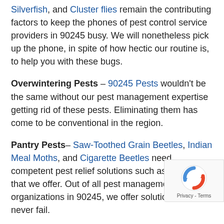Silverfish, and Cluster flies remain the contributing factors to keep the phones of pest control service providers in 90245 busy. We will nonetheless pick up the phone, in spite of how hectic our routine is, to help you with these bugs.
Overwintering Pests – 90245 Pests wouldn't be the same without our pest management expertise getting rid of these pests. Eliminating them has come to be conventional in the region.
Pantry Pests– Saw-Toothed Grain Beetles, Indian Meal Moths, and Cigarette Beetles need competent pest relief solutions such as the ones that we offer. Out of all pest management organizations in 90245, we offer solutions that never fail.
Spiders and Black Widows – Whenever it involves spiders, there are many types of pests in this kingdom